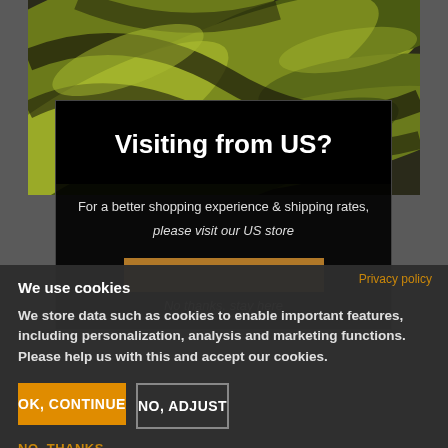[Figure (illustration): Abstract green and black swirling fabric-like shapes forming a decorative background image]
Visiting from US?
For a better shopping experience & shipping rates, please visit our US store
Privacy policy
We use cookies
We store data such as cookies to enable important features, including personalization, analysis and marketing functions. Please help us with this and accept our cookies.
OK, CONTINUE
NO, ADJUST
NO, THANKS